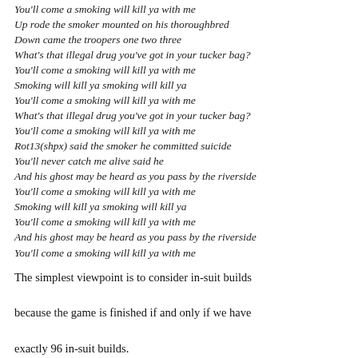You'll come a smoking will kill ya with me
Up rode the smoker mounted on his thoroughbred
Down came the troopers one two three
What's that illegal drug you've got in your tucker bag?
You'll come a smoking will kill ya with me
Smoking will kill ya smoking will kill ya
You'll come a smoking will kill ya with me
What's that illegal drug you've got in your tucker bag?
You'll come a smoking will kill ya with me
Rot13(shpx) said the smoker he committed suicide
You'll never catch me alive said he
And his ghost may be heard as you pass by the riverside
You'll come a smoking will kill ya with me
Smoking will kill ya smoking will kill ya
You'll come a smoking will kill ya with me
And his ghost may be heard as you pass by the riverside
You'll come a smoking will kill ya with me
The simplest viewpoint is to consider in-suit builds because the game is finished if and only if we have exactly 96 in-suit builds.
Each move gains at most one in-suit build (e.g. 6 of Hearts onto the 7 of Hearts). Dealing a row of 10 cards